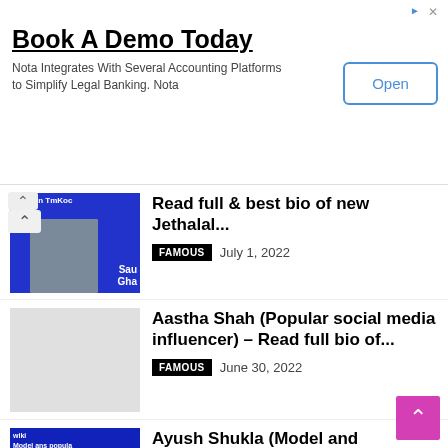[Figure (screenshot): Advertisement banner: Book A Demo Today - Nota Integrates With Several Accounting Platforms to Simplify Legal Banking. Nota. Open button.]
Read full & best bio of new Jethalal...
FAMOUS   July 1, 2022
Aastha Shah (Popular social media influencer) – Read full bio of...
FAMOUS   June 30, 2022
Ayush Shukla (Model and Instagram star) – Read full bio of...
ENTREPRENEUR   June 26, 2022